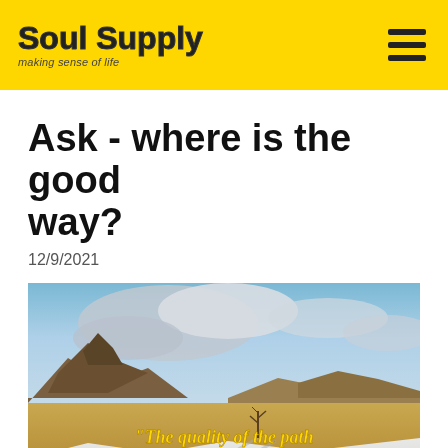Soul Supply — making sense of life
Ask - where is the good way?
12/9/2021
[Figure (photo): Landscape photo of a snowy and arid open plain with rocky hills in the background and a partly cloudy sky. Overlaid yellow italic text reads: "The quality of the path does not define the quality of the destination."]